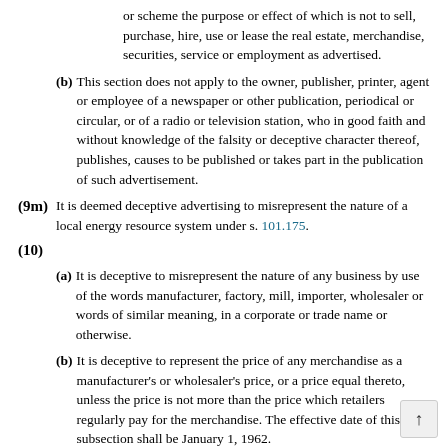or scheme the purpose or effect of which is not to sell, purchase, hire, use or lease the real estate, merchandise, securities, service or employment as advertised.
(b) This section does not apply to the owner, publisher, printer, agent or employee of a newspaper or other publication, periodical or circular, or of a radio or television station, who in good faith and without knowledge of the falsity or deceptive character thereof, publishes, causes to be published or takes part in the publication of such advertisement.
(9m) It is deemed deceptive advertising to misrepresent the nature of a local energy resource system under s. 101.175.
(10)
(a) It is deceptive to misrepresent the nature of any business by use of the words manufacturer, factory, mill, importer, wholesaler or words of similar meaning, in a corporate or trade name or otherwise.
(b) It is deceptive to represent the price of any merchandise as a manufacturer's or wholesaler's price, or a price equal thereto, unless the price is not more than the price which retailers regularly pay for the merchandise. The effective date of this subsection shall be January 1, 1962.
(10m) It is deceptive or misleading advertising for a person who sells new motor vehicles to compare new motor vehicle selling prices, including the offered prices or the actual sal